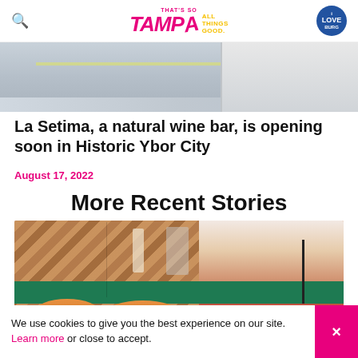That's So Tampa - All Things Good. iLoveBurg
[Figure (photo): Exterior street view photo of a building, showing road markings and a white building facade]
La Setima, a natural wine bar, is opening soon in Historic Ybor City
August 17, 2022
More Recent Stories
[Figure (photo): Interior photo of a venue showing a herringbone wood panel wall, green counter, orange chairs, and colorful mural on the right]
We use cookies to give you the best experience on our site. Learn more or close to accept.